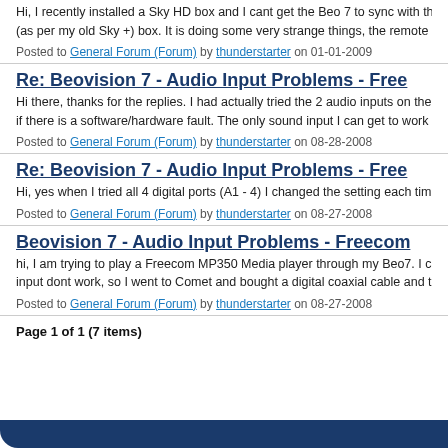Hi, I recently installed a Sky HD box and I cant get the Beo 7 to sync with the box. the (as per my old Sky +) box. It is doing some very strange things, the remote is sporadi
Posted to General Forum (Forum) by thunderstarter on 01-01-2009
Re: Beovision 7 - Audio Input Problems - Fre…
Hi there, thanks for the replies. I had actually tried the 2 audio inputs on the rear pane if there is a software/hardware fault. The only sound input I can get to work is the one
Posted to General Forum (Forum) by thunderstarter on 08-28-2008
Re: Beovision 7 - Audio Input Problems - Fre…
Hi, yes when I tried all 4 digital ports (A1 - 4) I changed the setting each time to reflec
Posted to General Forum (Forum) by thunderstarter on 08-27-2008
Beovision 7 - Audio Input Problems - Freecom…
hi, I am trying to play a Freecom MP350 Media player through my Beo7. I can get vis input dont work, so I went to Comet and bought a digital coaxial cable and tried plugg
Posted to General Forum (Forum) by thunderstarter on 08-27-2008
Page 1 of 1 (7 items)